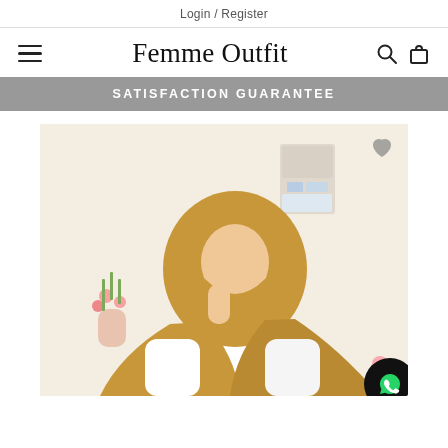Login / Register
[Figure (logo): Femme Outfit brand logo with hamburger menu icon on the left and search and cart icons on the right]
SATISFACTION GUARANTEE
[Figure (photo): A woman wearing a golden/camel-colored hijab and white top, posing with hand to cheek, with pink flowers in a vase in the background. A heart/favorite icon is in the top right and a WhatsApp chat button is in the bottom right.]